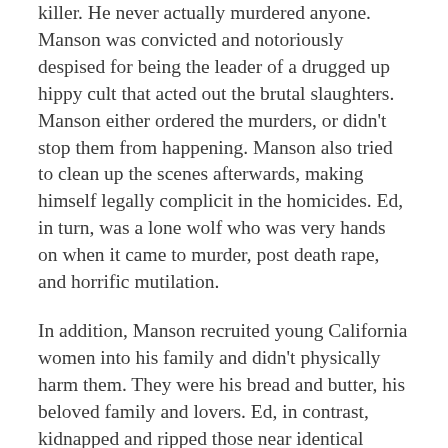killer. He never actually murdered anyone. Manson was convicted and notoriously despised for being the leader of a drugged up hippy cult that acted out the brutal slaughters. Manson either ordered the murders, or didn't stop them from happening. Manson also tried to clean up the scenes afterwards, making himself legally complicit in the homicides. Ed, in turn, was a lone wolf who was very hands on when it came to murder, post death rape, and horrific mutilation.
In addition, Manson recruited young California women into his family and didn't physically harm them. They were his bread and butter, his beloved family and lovers. Ed, in contrast, kidnapped and ripped those near identical victims apart. So, the pair not only had very little in common, they had a strong reason to be enemies at odds.
Ed sometimes pointed out the difference between himself and Manson due to their physical size and